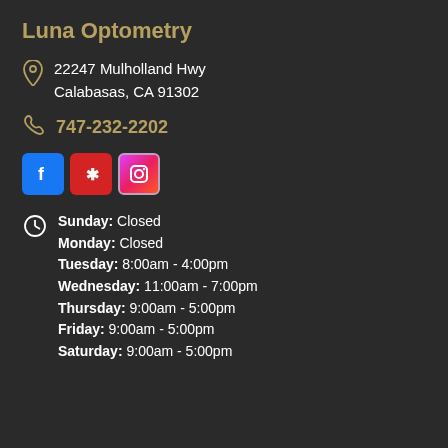Luna Optometry
22247 Mulholland Hwy
Calabasas, CA 91302
747-232-2202
[Figure (logo): Social media icons: Facebook, Yelp, Instagram]
Sunday: Closed
Monday: Closed
Tuesday: 8:00am - 4:00pm
Wednesday: 11:00am - 7:00pm
Thursday: 9:00am - 5:00pm
Friday: 9:00am - 5:00pm
Saturday: 9:00am - 5:00pm